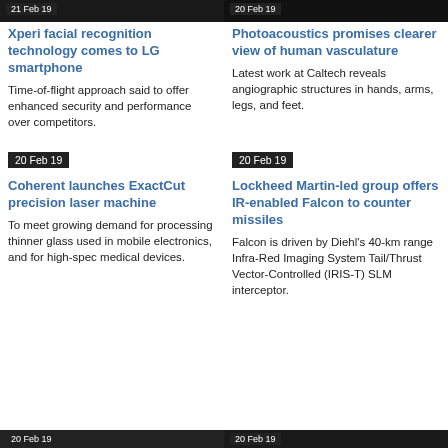[Figure (photo): Dark image of smartphone with date badge '21 Feb 19']
[Figure (photo): Dark image with date badge '20 Feb 19']
Xperi facial recognition technology comes to LG smartphone
Photoacoustics promises clearer view of human vasculature
Time-of-flight approach said to offer enhanced security and performance over competitors.
Latest work at Caltech reveals angiographic structures in hands, arms, legs, and feet.
20 Feb 19
20 Feb 19
Coherent launches ExactCut precision laser machine
Lockheed Martin-led group offers IR-enabled Falcon to counter missiles
To meet growing demand for processing thinner glass used in mobile electronics, and for high-spec medical devices.
Falcon is driven by Diehl's 40-km range Infra-Red Imaging System Tail/Thrust Vector-Controlled (IRIS-T) SLM interceptor.